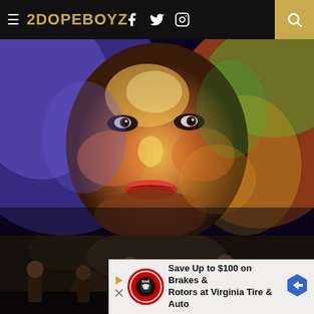2DOPEBOYZ
[Figure (illustration): Colorful psychedelic portrait painting of a person's face with vivid blues, yellows, oranges, greens, and reds — appears to be a hip-hop themed digital artwork.]
NEWS ◇ VIDEOS
ScHoolboy Q, Tiger Woods, The Miz & More Star In 'PGA Tour 2K23' Commercial
[Figure (photo): Dark photo of people at what appears to be a concert or club event.]
Save Up to $100 on Brakes & Rotors at Virginia Tire & Auto